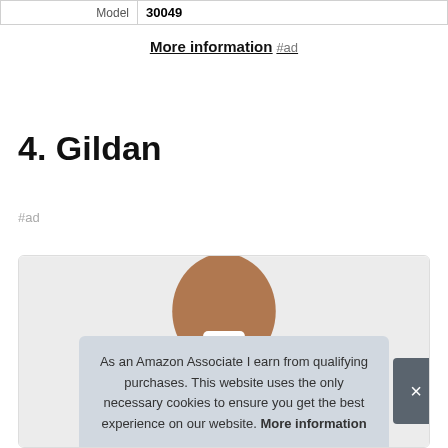| Model |  |
| --- | --- |
| Model | 30049 |
More information #ad
4. Gildan
#ad
[Figure (photo): Product card showing a person wearing a Gildan shirt, partially visible from chin down.]
As an Amazon Associate I earn from qualifying purchases. This website uses the only necessary cookies to ensure you get the best experience on our website. More information